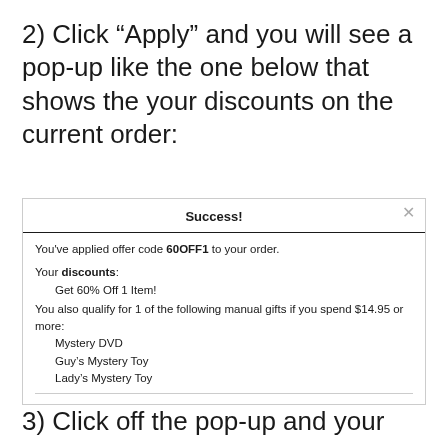2) Click “Apply” and you will see a pop-up like the one below that shows the your discounts on the current order:
[Figure (screenshot): A popup dialog showing a success message. Title: 'Success!' with a close X button. A horizontal divider. Body text: 'You’ve applied offer code 60OFF1 to your order.' Then 'Your discounts: Get 60% Off 1 Item!' Then 'You also qualify for 1 of the following manual gifts if you spend $14.95 or more:' with list items: Mystery DVD, Guy’s Mystery Toy, Lady’s Mystery Toy. Followed by a bottom divider.]
3) Click off the pop-up and your